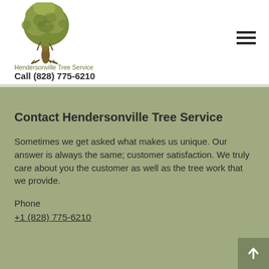[Figure (logo): Hendersonville Tree Service logo: illustration of a large tree with detailed trunk and foliage in olive/brown tones]
Hendersonville Tree Service
Call (828) 775-6210
Contact Hendersonville Tree Service
Sometimes we get asked what makes us unique. Our answer is always the same; customer satisfaction. We truly care about you the customer as well as the tree work that we provide.
Phone
+1 (828) 775-6210